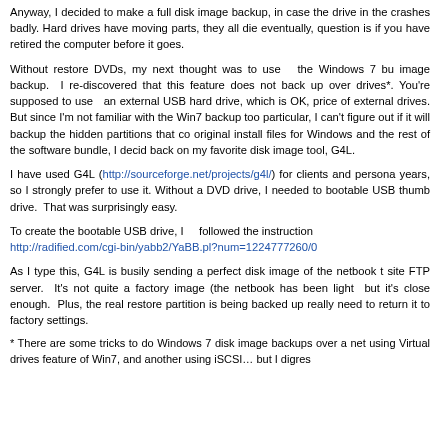Anyway, I decided to make a full disk image backup, in case the drive in the crashes badly.    Hard drives have moving parts, they all die eventually, question is if you have retired the computer before it goes.
Without restore DVDs, my next thought was to use  the Windows 7 bu image backup.  I re-discovered that this feature does not back up over drives*. You're supposed to use  an external USB hard drive, which is OK, price of external drives. But since I'm not familiar with the Win7 backup too particular, I can't figure out if it will backup the hidden partitions that co original install files for Windows and the rest of the software bundle, I decid back on my favorite disk image tool, G4L.
I have used G4L (http://sourceforge.net/projects/g4l/) for clients and persona years, so I strongly prefer to use it. Without a DVD drive, I needed to bootable USB thumb drive.  That was surprisingly easy.
To create the bootable USB drive, I    followed the instruction http://radified.com/cgi-bin/yabb2/YaBB.pl?num=1224777260/0
As I type this, G4L is busily sending a perfect disk image of the netbook t site FTP server.  It's not quite a factory image (the netbook has been light  but it's close enough.  Plus, the real restore partition is being backed up really need to return it to factory settings.
* There are some tricks to do Windows 7 disk image backups over a net using Virtual drives feature of Win7, and another using iSCSI… but I digres